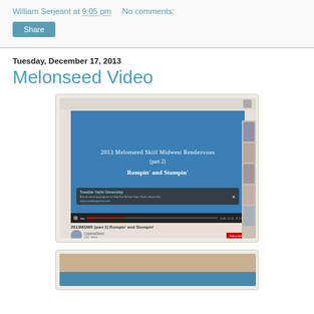William Serjeant at 9:05 pm    No comments:
Share
Tuesday, December 17, 2013
Melonseed Video
[Figure (screenshot): Screenshot of a YouTube video page showing '2013 Melonseed Skiff Midwest Rendezvous (part 2) Rompin' and Stompin'' playing on a blue background, with video controls and sidebar thumbnails visible.]
[Figure (screenshot): Partial screenshot of another video thumbnail at bottom of page, showing warm-toned imagery.]